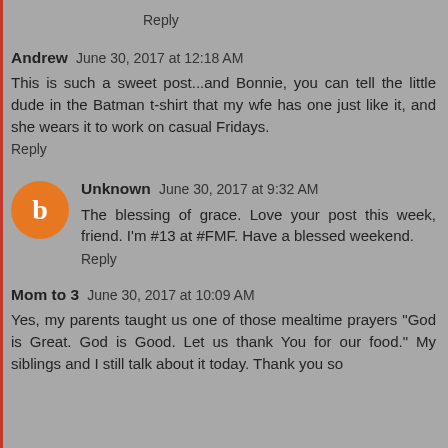Reply
Andrew June 30, 2017 at 12:18 AM
This is such a sweet post...and Bonnie, you can tell the little dude in the Batman t-shirt that my wfe has one just like it, and she wears it to work on casual Fridays.
Reply
Unknown June 30, 2017 at 9:32 AM
The blessing of grace. Love your post this week, friend. I'm #13 at #FMF. Have a blessed weekend.
Reply
Mom to 3 June 30, 2017 at 10:09 AM
Yes, my parents taught us one of those mealtime prayers "God is Great. God is Good. Let us thank You for our food." My siblings and I still talk about it today. Thank you so